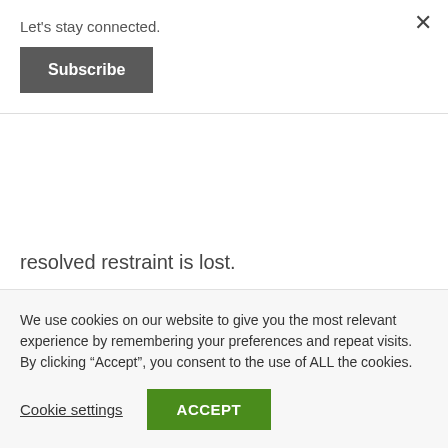Let's stay connected.
Subscribe
resolved restraint is lost.
Supposing one has resolved never to get angry and tries willpower to achieve this change. Now assume the subject person is falsely accused of a gross misdemeanour at work, reprimanded in presence of
We use cookies on our website to give you the most relevant experience by remembering your preferences and repeat visits. By clicking “Accept”, you consent to the use of ALL the cookies.
Cookie settings
ACCEPT